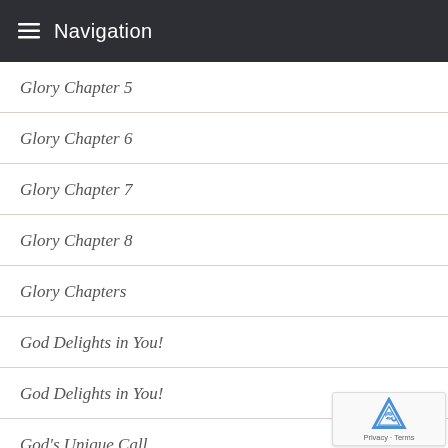Navigation
Glory Chapter 5
Glory Chapter 6
Glory Chapter 7
Glory Chapter 8
Glory Chapters
God Delights in You!
God Delights in You!
God's Unique Call
Gossip